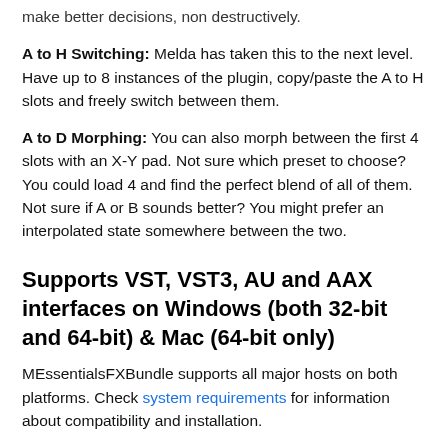make better decisions, non destructively.
A to H Switching: Melda has taken this to the next level. Have up to 8 instances of the plugin, copy/paste the A to H slots and freely switch between them.
A to D Morphing: You can also morph between the first 4 slots with an X-Y pad. Not sure which preset to choose? You could load 4 and find the perfect blend of all of them. Not sure if A or B sounds better? You might prefer an interpolated state somewhere between the two.
Supports VST, VST3, AU and AAX interfaces on Windows (both 32-bit and 64-bit) & Mac (64-bit only)
MEssentialsFXBundle supports all major hosts on both platforms. Check system requirements for information about compatibility and installation.